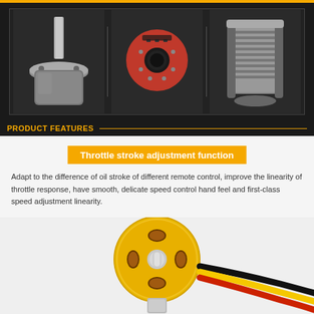[Figure (photo): Three close-up photos of motor components: left shows motor shaft and mounting plate, center shows back of PCB/sensor board (red), right shows motor windings/stator cross-section. Dark background panel.]
PRODUCT FEATURES
Throttle stroke adjustment function
Adapt to the difference of oil stroke of different remote control, improve the linearity of throttle response, have smooth, delicate speed control hand feel and first-class speed adjustment linearity.
[Figure (photo): Close-up photo of a gold-colored brushless motor viewed from the front/top, showing copper windings, with three colored wires (black, yellow, red) extending from it.]